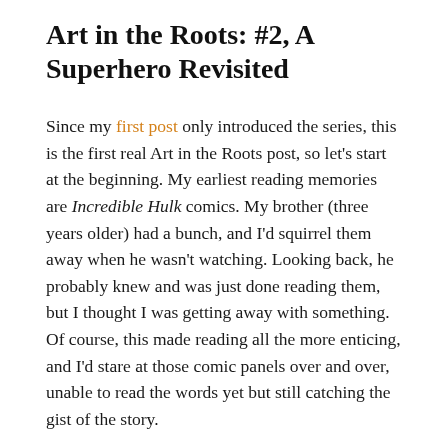Art in the Roots: #2, A Superhero Revisited
Since my first post only introduced the series, this is the first real Art in the Roots post, so let's start at the beginning. My earliest reading memories are Incredible Hulk comics. My brother (three years older) had a bunch, and I'd squirrel them away when he wasn't watching. Looking back, he probably knew and was just done reading them, but I thought I was getting away with something. Of course, this made reading all the more enticing, and I'd stare at those comic panels over and over, unable to read the words yet but still catching the gist of the story.